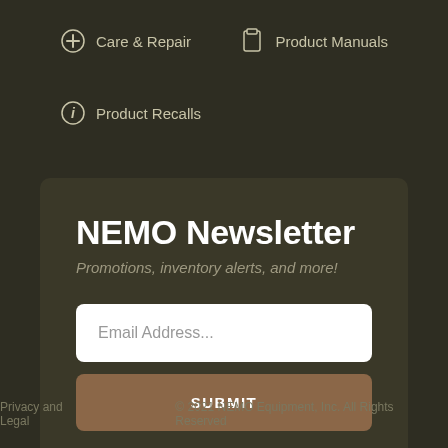Care & Repair
Product Manuals
Product Recalls
NEMO Newsletter
Promotions, inventory alerts, and more!
Email Address...
SUBMIT
Privacy and Legal   © 2021 NEMO Equipment, Inc. All Rights Reserved